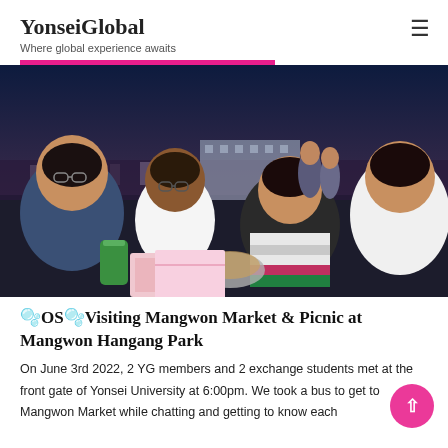YonseiGlobal
Where global experience awaits
[Figure (photo): Four young people posing for a photo at night outdoors, making peace signs. They have food and drinks in front of them. The background shows a city skyline at dusk.]
🫧OS🫧Visiting Mangwon Market & Picnic at Mangwon Hangang Park
On June 3rd 2022, 2 YG members and 2 exchange students met at the front gate of Yonsei University at 6:00pm. We took a bus to get to Mangwon Market while chatting and getting to know each